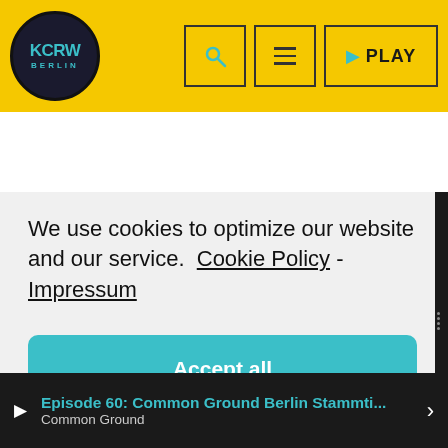KCRW Berlin - header with logo, search, menu, and play button
We use cookies to optimize our website and our service. Cookie Policy - Impressum
Accept all
Functional only
View preferences
Episode 60: Common Ground Berlin Stammti... | Common Ground